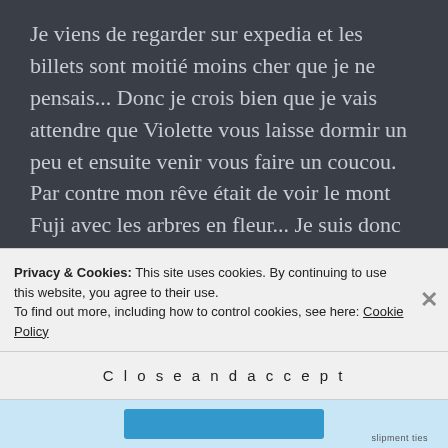Je viens de regarder sur expedia et les billets sont moitié moins cher que je ne pensais... Donc je crois bien que je vais attendre que Violette vous laisse dormir un peu et ensuite venir vous faire un coucou. Par contre mon rêve était de voir le mont Fuji avec les arbres en fleur... Je suis donc allé sur internet pour voir à quelles dates les arbres fleurissent. Il y à des sites dédiés aux dates de floraisons des cerisiers au Japon. Preuve que cela
Privacy & Cookies: This site uses cookies. By continuing to use this website, you agree to their use.
To find out more, including how to control cookies, see here: Cookie Policy
Close and accept